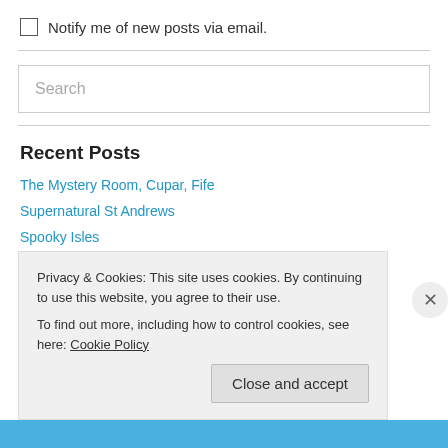Notify me of new posts via email.
Search
Recent Posts
The Mystery Room, Cupar, Fife
Supernatural St Andrews
Spooky Isles
Supernatural St Andrews
Privacy & Cookies: This site uses cookies. By continuing to use this website, you agree to their use. To find out more, including how to control cookies, see here: Cookie Policy
Close and accept